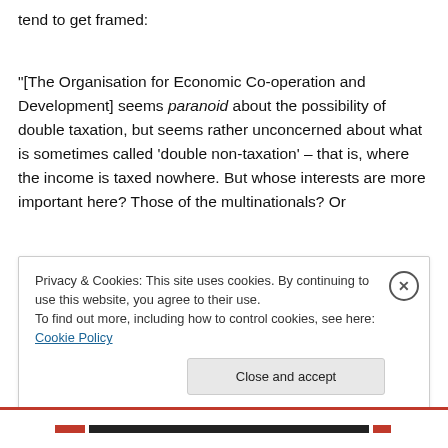tend to get framed:
“[The Organisation for Economic Co-operation and Development] seems paranoid about the possibility of double taxation, but seems rather unconcerned about what is sometimes called ‘double non-taxation’ – that is, where the income is taxed nowhere. But whose interests are more important here? Those of the multinationals? Or
Privacy & Cookies: This site uses cookies. By continuing to use this website, you agree to their use.
To find out more, including how to control cookies, see here: Cookie Policy
Close and accept